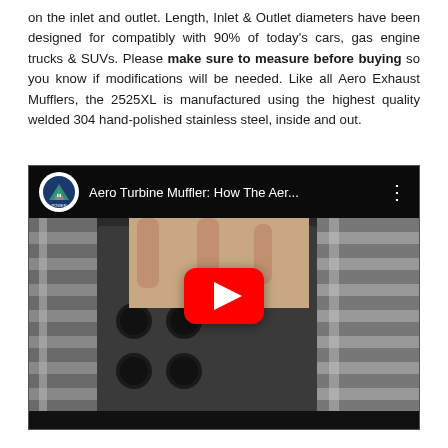on the inlet and outlet. Length, Inlet & Outlet diameters have been designed for compatibly with 90% of today's cars, gas engine trucks & SUVs. Please make sure to measure before buying so you know if modifications will be needed. Like all Aero Exhaust Mufflers, the 2525XL is manufactured using the highest quality welded 304 hand-polished stainless steel, inside and out.
[Figure (screenshot): YouTube video thumbnail showing a hand holding a stainless steel muffler component with perforated holes, with a red YouTube play button in the center. The video title reads 'Aero Turbine Muffler: How The Aer...' with a circular logo in the top left corner.]